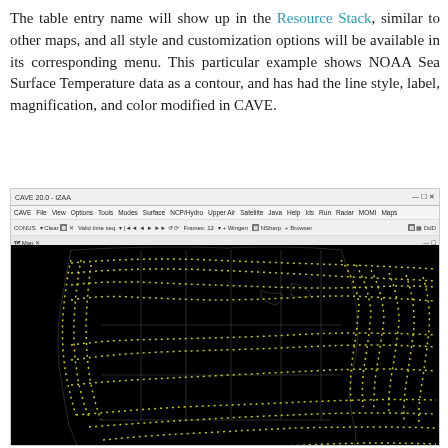The table entry name will show up in the Resource Stack, similar to other maps, and all style and customization options will be available in its corresponding menu. This particular example shows NOAA Sea Surface Temperature data as a contour, and has had the line style, label, magnification, and color modified in CAVE.
[Figure (screenshot): Screenshot of CAVE application showing a dark map with yellow dotted contour lines representing NOAA Sea Surface Temperature data overlaid on a map of North America and surrounding areas. The CAVE window has a title bar reading 'CAVE 20.0 - IZAA', a menu bar with options like CAVE, File, View, Options, Tools, Modes, Surface, NCP/Hydro, Upper Air, Satellite, Java, Help, Ids, Run, Radar, MOMI, Maps, and a toolbar with various controls. Below the toolbars is a Map panel with a black background showing state/country outlines in grey and yellow dotted contour lines swirling across the continent.]